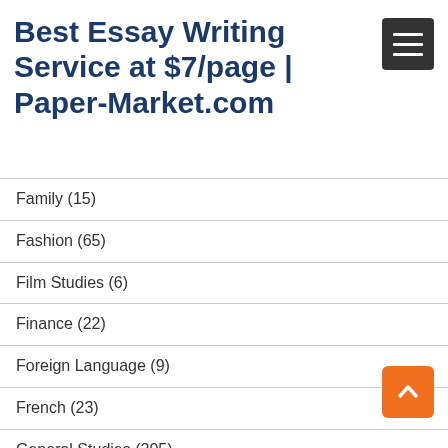Best Essay Writing Service at $7/page | Paper-Market.com
Family (15)
Fashion (65)
Film Studies (6)
Finance (22)
Foreign Language (9)
French (23)
General Studies (205)
Geography (298)
Health (22)
History (12)